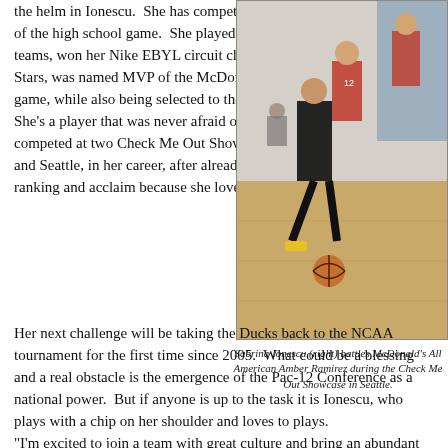the helm in Ionescu. She has competed at the highest levels of the high school game. She played on two USA Basketball teams, won her Nike EBYL circuit championship with the Stars, was named MVP of the McDonald's All American game, while also being selected to the Jordan Brand Classic. She's a player that was never afraid of competition. She competed at two Check Me Out Showcases, both in NorCal and Seattle, in her career, after already receiving national ranking and acclaim because she loved to compete.
[Figure (photo): Basketball players in action on an indoor court. Player in black uniform dribbling, guarded by player in red. Number 12 in red stands in background. A basketball is on the floor.]
Sabrina Ionescu (right) battles McDonald's All American Amber Ramirez during the Check Me Out Showcase in Seattle.
Her next challenge will be taking the Ducks back to the NCAA tournament for the first time since 2005. What could be a blessing and a real obstacle is the emergence of the Pac-12 Conference as a national power. But if anyone is up to the task it is Ionescu, who plays with a chip on her shoulder and loves to plays.
“I’m excited to join a team with great culture and bring an abundant amount of